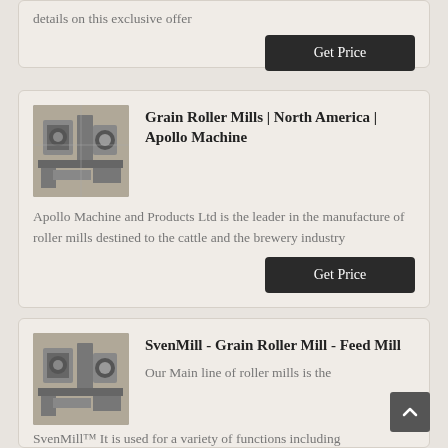details on this exclusive offer
[Figure (other): Get Price button (dark background)]
[Figure (photo): Industrial roller mill machinery photo]
Grain Roller Mills | North America | Apollo Machine
Apollo Machine and Products Ltd is the leader in the manufacture of roller mills destined to the cattle and the brewery industry
[Figure (other): Get Price button (dark background)]
[Figure (photo): Industrial roller mill machinery photo]
SvenMill - Grain Roller Mill - Feed Mill
Our Main line of roller mills is the SvenMill™ It is used for a variety of functions including